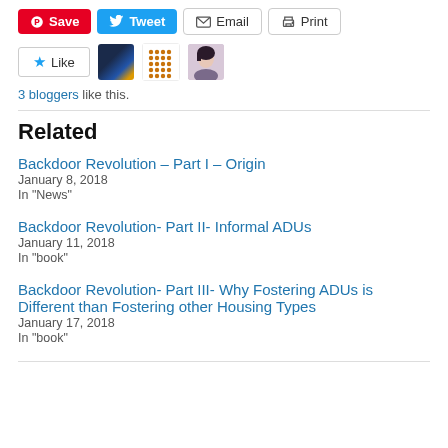[Figure (screenshot): Social sharing buttons: Save (Pinterest, red), Tweet (Twitter, blue), Email (outlined), Print (outlined)]
[Figure (screenshot): Like button with star icon, and three blogger avatar thumbnails (photo, pattern, portrait)]
3 bloggers like this.
Related
Backdoor Revolution – Part I – Origin
January 8, 2018
In "News"
Backdoor Revolution- Part II- Informal ADUs
January 11, 2018
In "book"
Backdoor Revolution- Part III- Why Fostering ADUs is Different than Fostering other Housing Types
January 17, 2018
In "book"